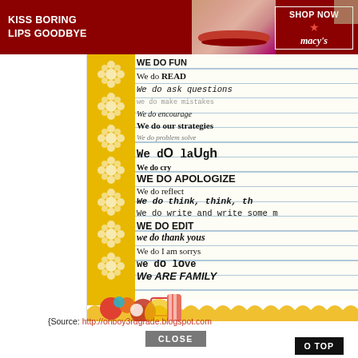[Figure (photo): Macy's advertisement banner showing woman with red lips, text KISS BORING LIPS GOODBYE and SHOP NOW with Macy's star logo]
[Figure (infographic): Classroom poster on lined paper with yellow floral strip on left, listing phrases: WE DO FUN, We do READ, We do ask questions, we do make mistakes, We do encourage, We do our strategies, We do problem solve, We do laugh, We do cry, WE DO APOLOGIZE, We do reflect, We do think think t..., We do write and write some m..., WE DO EDIT, we do thank yous, We do I am sorrys, we do love, We ARE FAMILY. Decorative colorful circles at bottom.]
r best
{Source: http://ohboy3rdgrade.blogspot.com
CLOSE
O TOP